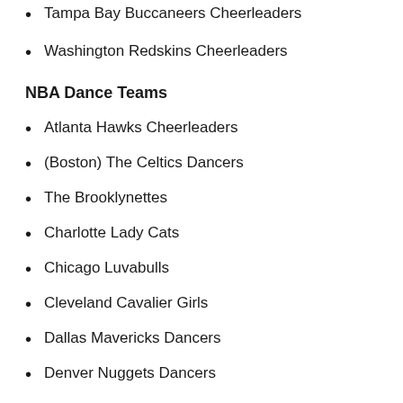Tampa Bay Buccaneers Cheerleaders
Washington Redskins Cheerleaders
NBA Dance Teams
Atlanta Hawks Cheerleaders
(Boston) The Celtics Dancers
The Brooklynettes
Charlotte Lady Cats
Chicago Luvabulls
Cleveland Cavalier Girls
Dallas Mavericks Dancers
Denver Nuggets Dancers